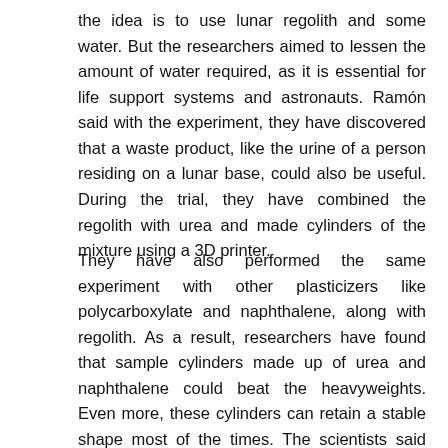the idea is to use lunar regolith and some water. But the researchers aimed to lessen the amount of water required, as it is essential for life support systems and astronauts. Ramón said with the experiment, they have discovered that a waste product, like the urine of a person residing on a lunar base, could also be useful. During the trial, they have combined the regolith with urea and made cylinders of the mixture using a 3D printer.
They have also performed the same experiment with other plasticizers like polycarboxylate and naphthalene, along with regolith. As a result, researchers have found that sample cylinders made up of urea and naphthalene could beat the heavyweights. Even more, these cylinders can retain a stable shape most of the times. The scientists said additional trials to follow up on these specimens are on the way. So, maybe in the future, astronauts can create lunar bases by using pee.